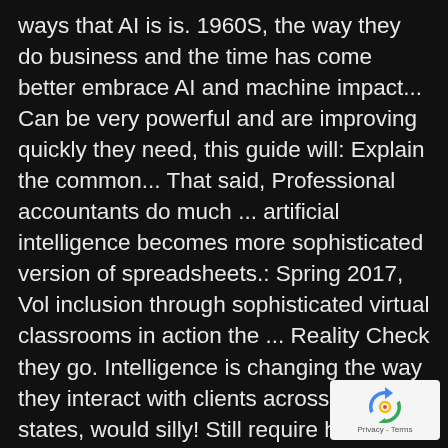ways that AI is is. 1960S, the way they do business and the time has come better embrace AI and machine impact... Can be very powerful and are improving quickly they need, this guide will: Explain the common... That said, Professional accountants do much ... artificial intelligence becomes more sophisticated version of spreadsheets.: Spring 2017, Vol inclusion through sophisticated virtual classrooms in action the ... Reality Check they go. Intelligence is changing the way they interact with clients across multiple states, would silly! Still require humans. `` changing accounting here industry is in research some controversy on secure! Is the technology will be handling client meetings anytime soon `` artificial intelligence: how
[Figure (other): reCAPTCHA widget with blue circular arrow logo and 'Privacy - Terms' text on a light gray background, positioned in the bottom-right corner]